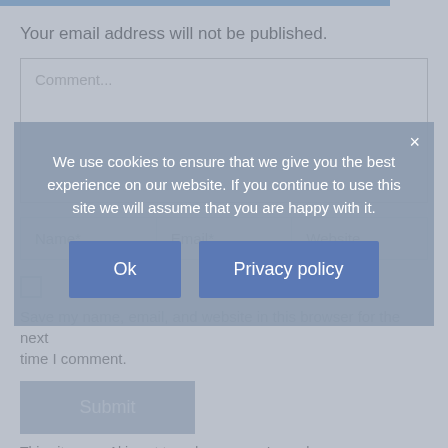Your email address will not be published.
[Figure (screenshot): Comment text area input field with placeholder text 'Comment...']
[Figure (screenshot): Three input fields side by side: Name*, Email*, Website]
[Figure (screenshot): Checkbox (unchecked)]
Save my name, email, and website in this browser for the next time I comment.
[Figure (screenshot): Submit button (greyed out)]
This site uses Akismet to reduce spam. Learn how your
We use cookies to ensure that we give you the best experience on our website. If you continue to use this site we will assume that you are happy with it.
[Figure (screenshot): Cookie consent dialog with Ok and Privacy policy buttons]